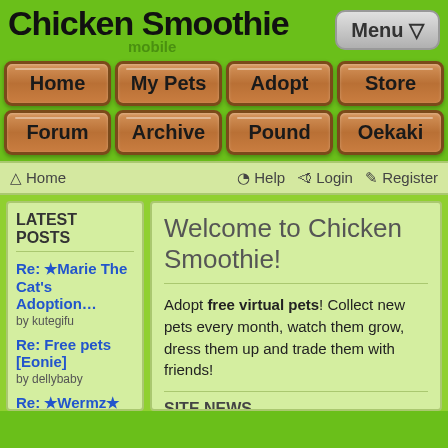Chicken Smoothie mobile
[Figure (screenshot): Menu button with dropdown arrow]
[Figure (infographic): Navigation buttons: Home, My Pets, Adopt, Store, Forum, Archive, Pound, Oekaki — wooden plank style buttons on green background]
Home   Help   Login   Register
LATEST POSTS
Re: ★Marie The Cat's Adoption… by kutegifu
Re: Free pets [Eonie] by dellybaby
Re: ★Wermz★ Trading
Welcome to Chicken Smoothie!
Adopt free virtual pets! Collect new pets every month, watch them grow, dress them up and trade them with friends!
SITE NEWS
17th August 22